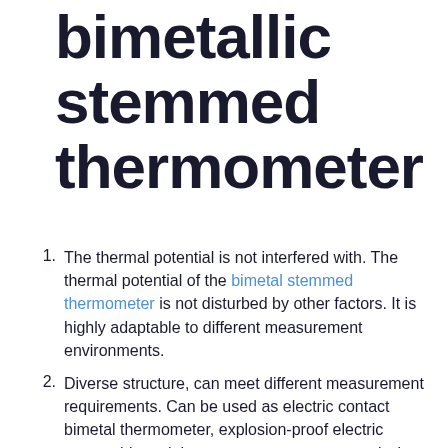bimetallic stemmed thermometer
The thermal potential is not interfered with. The thermal potential of the bimetal stemmed thermometer is not disturbed by other factors. It is highly adaptable to different measurement environments.
Diverse structure, can meet different measurement requirements. Can be used as electric contact bimetal thermometer, explosion-proof electric contact bimetal thermometer, remote transmission bimetal thermometer, etc.
Fast temperature response and high sensitivity. At the same time, the temperature change is